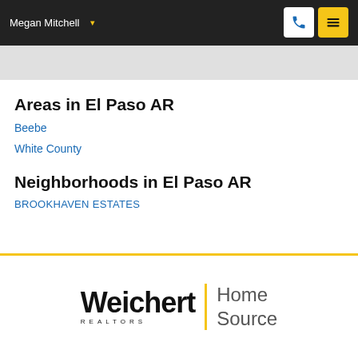Megan Mitchell ▾
Areas in El Paso AR
Beebe
White County
Neighborhoods in El Paso AR
BROOKHAVEN ESTATES
[Figure (logo): Weichert Realtors Home Source logo with yellow vertical bar divider]
Weichert REALTORS Home Source